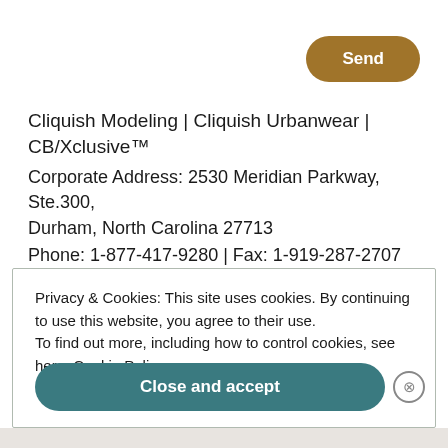[Figure (other): Send button — brown pill-shaped button with white bold text 'Send' in the top-right corner]
Cliquish Modeling | Cliquish Urbanwear | CB/Xclusive™
Corporate Address: 2530 Meridian Parkway, Ste.300, Durham, North Carolina 27713
Phone: 1-877-417-9280 | Fax: 1-919-287-2707
Privacy & Cookies: This site uses cookies. By continuing to use this website, you agree to their use.
To find out more, including how to control cookies, see here: Cookie Policy
[Figure (other): Close and accept button — teal pill-shaped button with white bold text 'Close and accept']